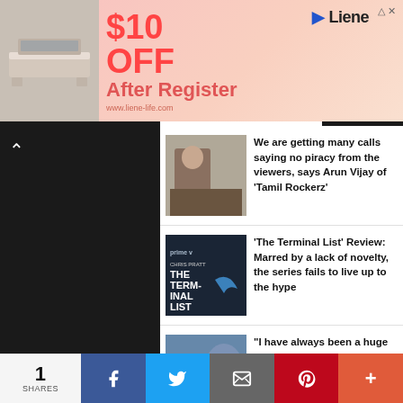[Figure (infographic): Advertisement banner: '$10 OFF After Register' for Liene brand, pink background with furniture image on left]
We are getting many calls saying no piracy from the viewers, says Arun Vijay of 'Tamil Rockerz'
'The Terminal List' Review: Marred by a lack of novelty, the series fails to live up to the hype
"I have always been a huge fan of Akshay Kumar," says his Cuttputlli co-star Rakul Preet Singh
1
SHARES